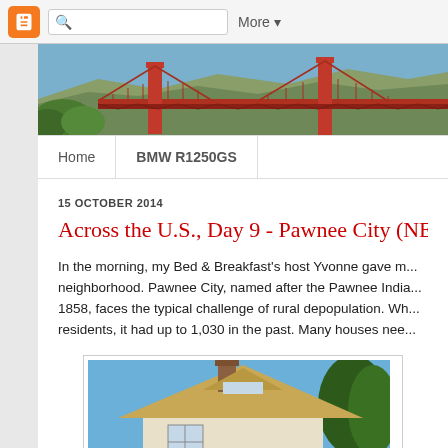Blogger toolbar with search and More button
[Figure (photo): Golden Gate Bridge header banner photo — red bridge towers and cables with hills in background]
Home | BMW R1250GS
15 OCTOBER 2014
Across the U.S., Day 9 - Pawnee City (NE...
In the morning, my Bed & Breakfast's host Yvonne gave m... neighborhood. Pawnee City, named after the Pawnee India... 1858, faces the typical challenge of rural depopulation. Wh... residents, it had up to 1,030 in the past. Many houses nee...
[Figure (photo): Photo of a historic house with steep roof and chimney against a blue sky, partially cropped at bottom]